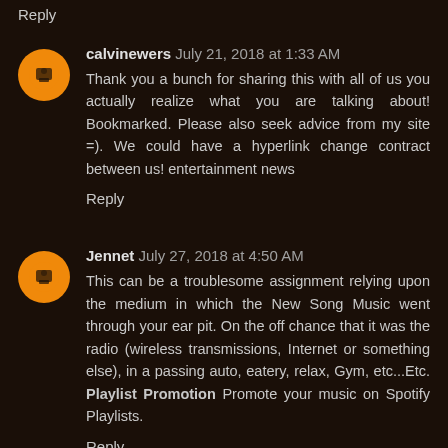Reply
calvinewers  July 21, 2018 at 1:33 AM
Thank you a bunch for sharing this with all of us you actually realize what you are talking about! Bookmarked. Please also seek advice from my site =). We could have a hyperlink change contract between us! entertainment news
Reply
Jennet  July 27, 2018 at 4:50 AM
This can be a troublesome assignment relying upon the medium in which the New Song Music went through your ear pit. On the off chance that it was the radio (wireless transmissions, Internet or something else), in a passing auto, eatery, relax, Gym, etc...Etc. Playlist Promotion Promote your music on Spotify Playlists.
Reply